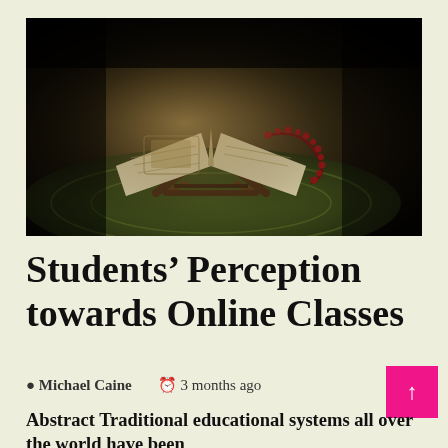[Figure (photo): A Quran or religious book open on a decorative wooden stand/holder, placed on an ornate patterned carpet or rug, photographed in dim/dramatic lighting with dark bokeh background. A string of prayer beads (tasbih) is draped across the book.]
Students’ Perception towards Online Classes
• Michael Caine   ⏰ 3 months ago
Abstract Traditional educational systems all over the world have been